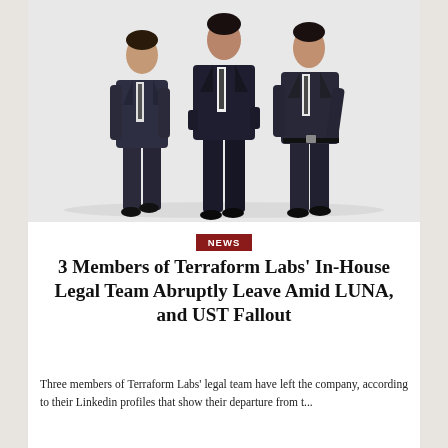[Figure (photo): Three men in dark suits walking toward the camera against a white background.]
NEWS
3 Members of Terraform Labs' In-House Legal Team Abruptly Leave Amid LUNA, and UST Fallout
Three members of Terraform Labs' legal team have left the company, according to their Linkedin profiles that show their departure from t...